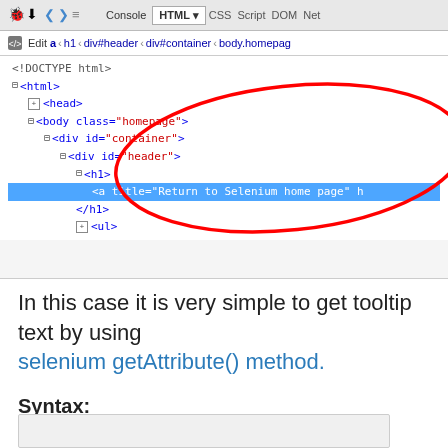[Figure (screenshot): Firebug/browser developer tools panel showing HTML source tree with an anchor element highlighted in blue, annotated with a red ellipse. Toolbar shows Console, HTML, CSS, Script, DOM, Net tabs. Breadcrumb shows: a < h1 < div#header < div#container < body.homepage. HTML tree shows DOCTYPE, html, head, body.class=homepage, div#container, div#header, h1, and highlighted anchor tag with title='Return to Selenium home page', closing h1, and ul elements.]
In this case it is very simple to get tooltip text by using selenium getAttribute() method.
Syntax: